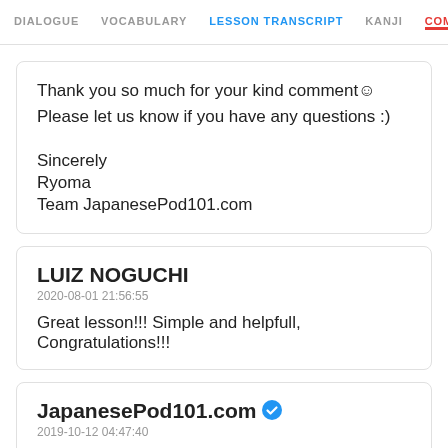DIALOGUE  VOCABULARY  LESSON TRANSCRIPT  KANJI  COMMENT
Thank you so much for your kind comment☺
Please let us know if you have any questions :)

Sincerely
Ryoma
Team JapanesePod101.com
LUIZ NOGUCHI
2020-08-01 21:56:55
Great lesson!!! Simple and helpfull, Congratulations!!!
JapanesePod101.com ✓
2019-10-12 04:47:40
Hi...